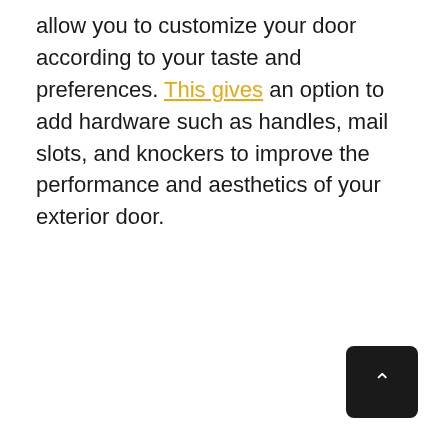allow you to customize your door according to your taste and preferences. This gives an option to add hardware such as handles, mail slots, and knockers to improve the performance and aesthetics of your exterior door.